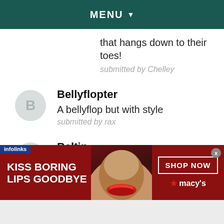MENU ▼
that hangs down to their toes!
submitted by Chelley
Bellyflopter
A bellyflop but with style
submitted by rax
Beltin
Looks/sounds stupid
submitted by rae
[Figure (infographic): Advertisement banner: red background with woman's face, text KISS BORING LIPS GOODBYE, SHOP NOW button and macys logo]